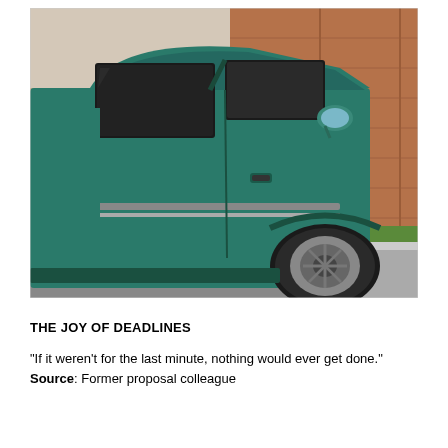[Figure (photo): A green pickup truck (Chevrolet Silverado style) parked in a lot, photographed from the side. The truck is teal/dark green in color with chrome trim along the lower door panels. It has tinted windows. In the background is a brick building with reddish-brown panels and a strip of green grass and a concrete curb visible on the right side.]
THE JOY OF DEADLINES
"If it weren't for the last minute, nothing would ever get done." Source: Former proposal colleague